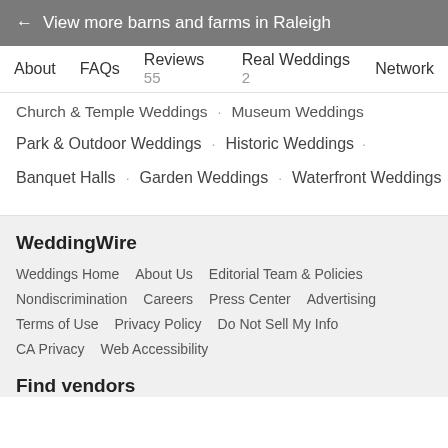← View more barns and farms in Raleigh
About  FAQs  Reviews 55  Real Weddings 2  Network
Church & Temple Weddings · Museum Weddings
Park & Outdoor Weddings · Historic Weddings ·
Banquet Halls · Garden Weddings · Waterfront Weddings
WeddingWire
Weddings Home   About Us   Editorial Team & Policies
Nondiscrimination   Careers   Press Center   Advertising
Terms of Use   Privacy Policy   Do Not Sell My Info
CA Privacy   Web Accessibility
Find vendors